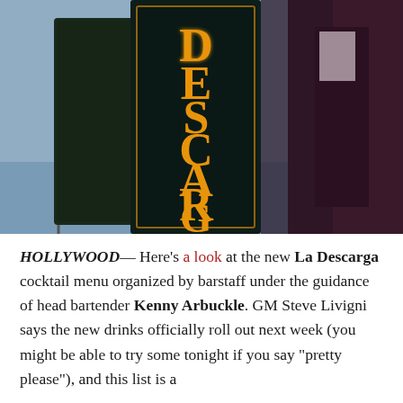[Figure (photo): Photograph of a neon sign reading 'DESCARGA' vertically in orange/amber letters on a dark teal/black sign frame, with a partial 'COCKTAILS' sign visible on the left side. A street lamp and blue sky are visible in the background.]
HOLLYWOOD— Here's a look at the new La Descarga cocktail menu organized by barstaff under the guidance of head bartender Kenny Arbuckle. GM Steve Livigni says the new drinks officially roll out next week (you might be able to try some tonight if you say "pretty please"), and this list is a